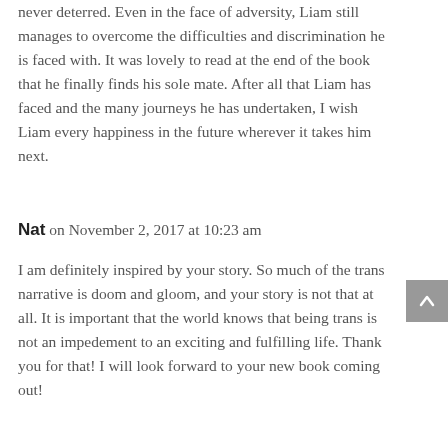never deterred. Even in the face of adversity, Liam still manages to overcome the difficulties and discrimination he is faced with. It was lovely to read at the end of the book that he finally finds his sole mate. After all that Liam has faced and the many journeys he has undertaken, I wish Liam every happiness in the future wherever it takes him next.
Nat on November 2, 2017 at 10:23 am
I am definitely inspired by your story. So much of the trans narrative is doom and gloom, and your story is not that at all. It is important that the world knows that being trans is not an impedement to an exciting and fulfilling life. Thank you for that! I will look forward to your new book coming out!